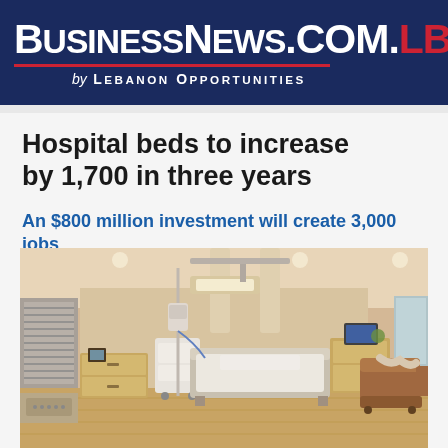BusinessNews.com.lb by Lebanon Opportunities
Hospital beds to increase by 1,700 in three years
An $800 million investment will create 3,000 jobs
[Figure (photo): Interior of a modern hospital room with a hospital bed in the center, medical equipment including ceiling-mounted lights and support columns, wooden cabinetry, a recliner chair on the right, and a window with blinds on the left. The floor is light hardwood.]